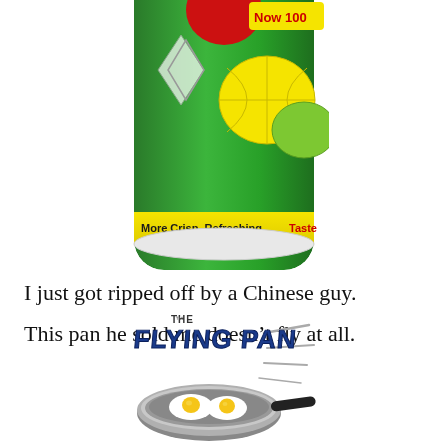[Figure (photo): Top half of a green 7-Up soda can showing lemon/lime imagery and text 'More Crisp, Refreshing Taste' and 'Now 100%']
I just got ripped off by a Chinese guy.
This pan he sold me doesn't fly at all.
[Figure (illustration): Logo/illustration of 'THE FLYING PAN' with a frying pan containing two sunny-side-up eggs, with motion lines suggesting flight]